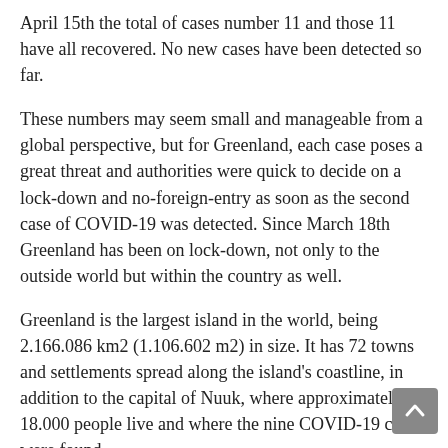April 15th the total of cases number 11 and those 11 have all recovered. No new cases have been detected so far.
These numbers may seem small and manageable from a global perspective, but for Greenland, each case poses a great threat and authorities were quick to decide on a lock-down and no-foreign-entry as soon as the second case of COVID-19 was detected. Since March 18th Greenland has been on lock-down, not only to the outside world but within the country as well.
Greenland is the largest island in the world, being 2.166.086 km2 (1.106.602 m2) in size. It has 72 towns and settlements spread along the island's coastline, in addition to the capital of Nuuk, where approximately 18.000 people live and where the nine COVID-19 cases were found.